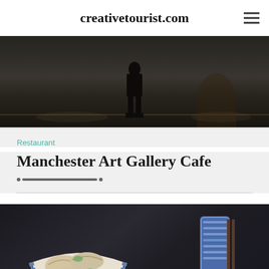creativetourist.com
[Figure (photo): Dark interior gallery/museum space with silhouette of a person standing, dramatic lighting with shadows on the floor]
Restaurant
Manchester Art Gallery Cafe
[Figure (photo): Bowl of Asian dumplings/gyoza with green onions served in a blue and white patterned bowl, chopsticks resting beside it on a dark surface]